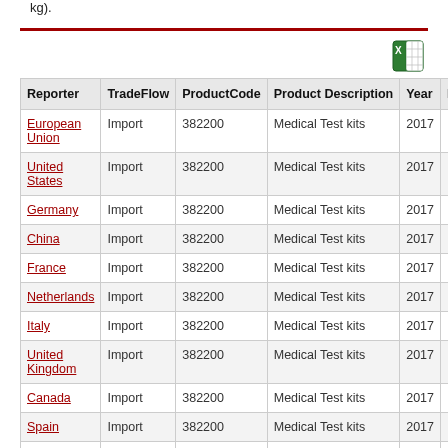kg).
| Reporter | TradeFlow | ProductCode | Product Description | Year | Pa |
| --- | --- | --- | --- | --- | --- |
| European Union | Import | 382200 | Medical Test kits | 2017 |  |
| United States | Import | 382200 | Medical Test kits | 2017 |  |
| Germany | Import | 382200 | Medical Test kits | 2017 |  |
| China | Import | 382200 | Medical Test kits | 2017 |  |
| France | Import | 382200 | Medical Test kits | 2017 |  |
| Netherlands | Import | 382200 | Medical Test kits | 2017 |  |
| Italy | Import | 382200 | Medical Test kits | 2017 |  |
| United Kingdom | Import | 382200 | Medical Test kits | 2017 |  |
| Canada | Import | 382200 | Medical Test kits | 2017 |  |
| Spain | Import | 382200 | Medical Test kits | 2017 |  |
| Korea, Rep. | Import | 382200 | Medical Test kits | 2017 |  |
| Japan | Import | 382200 | Medical Test kits | 2017 |  |